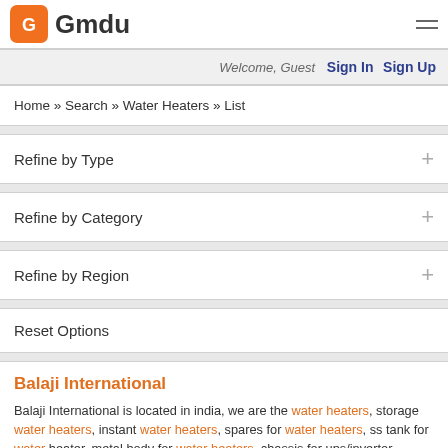Gmdu
Welcome, Guest  Sign In  Sign Up
Home » Search » Water Heaters » List
Refine by Type
Refine by Category
Refine by Region
Reset Options
Balaji International
Balaji International is located in india, we are the water heaters, storage water heaters, instant water heaters, spares for water heaters, ss tank for water heater, metal body for water heaters, chassis for ups/invertor, chassis for stabilizers, metal cabinet for ac and coolers supplier.